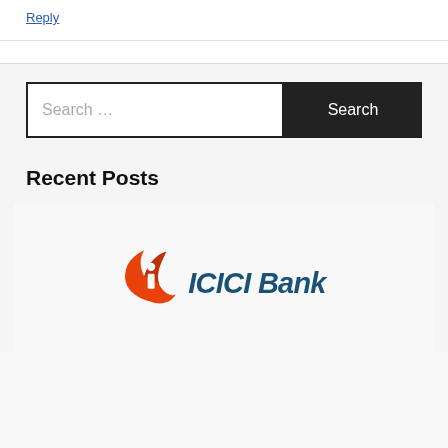Reply
Recent Posts
[Figure (logo): ICICI Bank logo with orange swirl icon and dark teal text reading 'ICICI Bank']